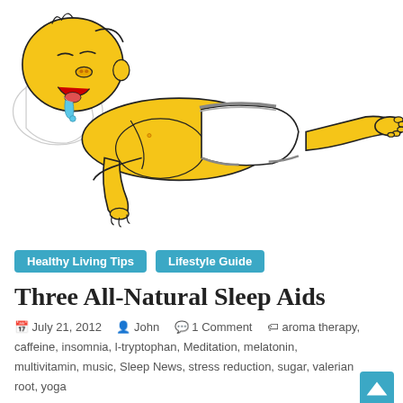[Figure (illustration): Cartoon illustration of Homer Simpson lying on his back drooling/sleeping, wearing white underwear, on a white background.]
Healthy Living Tips   Lifestyle Guide
Three All-Natural Sleep Aids
July 21, 2012  John  1 Comment  aroma therapy, caffeine, insomnia, l-tryptophan, Meditation, melatonin, multivitamin, music, Sleep News, stress reduction, sugar, valerian root, yoga